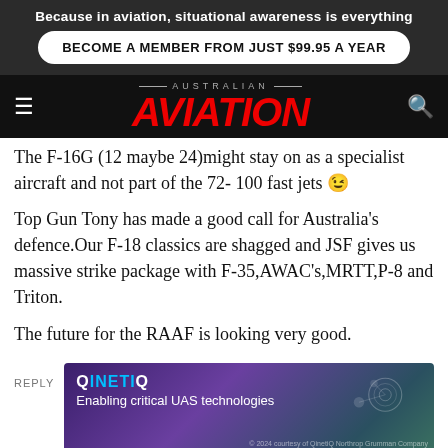Because in aviation, situational awareness is everything
BECOME A MEMBER FROM JUST $99.95 A YEAR
AUSTRALIAN AVIATION
The F-16G (12 maybe 24) might stay on as a specialist aircraft and not part of the 72- 100 fast jets 😉 Top Gun Tony has made a good call for Australia's defence.Our F-18 classics are shagged and JSF gives us massive strike package with F-35,AWAC's,MRTT,P-8 and Triton.

The future for the RAAF is looking very good.
REPLY
[Figure (infographic): QinetiQ advertisement banner: Enabling critical UAS technologies, purple/blue gradient background with circular network graphics]